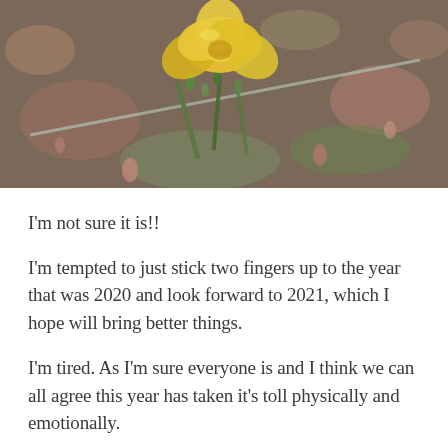[Figure (photo): Close-up photograph of a yellow flower with green buds and stems against a blurred background of pink and green foliage]
I'm not sure it is!!
I'm tempted to just stick two fingers up to the year that was 2020 and look forward to 2021, which I hope will bring better things.
I'm tired. As I'm sure everyone is and I think we can all agree this year has taken it's toll physically and emotionally.
However, maybe it's worth a look back at the good, bad and the downright ugly that this year has been. It